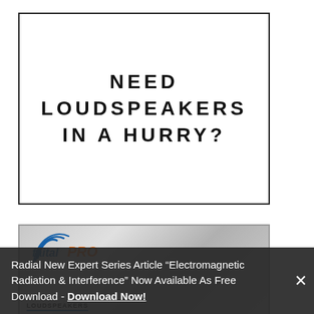[Figure (illustration): Advertisement box with bold text: NEED LOUDSPEAKERS IN A HURRY?]
[Figure (logo): FaitalPRO loudspeakers logo with blue curved lines, blue 'faital' text and orange 'PRO' text, with grayscale industrial photo background and 'LOUDSPEAKERS' label at bottom]
Radial New Expert Series Article “Electromagnetic Radiation & Interference” Now Available As Free Download - Download Now!